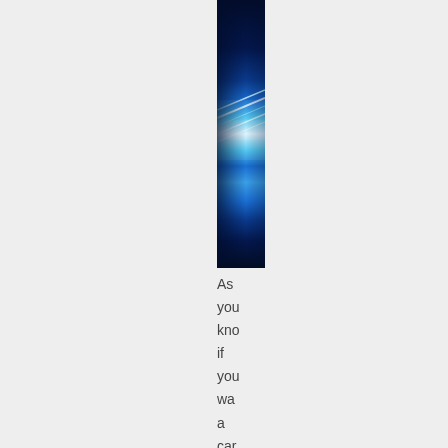[Figure (photo): A narrow vertical strip of a blue abstract light image — dark navy at top and bottom, with bright white and cyan light streaks in the middle section, suggesting a glowing energy or fiber optic effect.]
As you kno if you wa a car tha